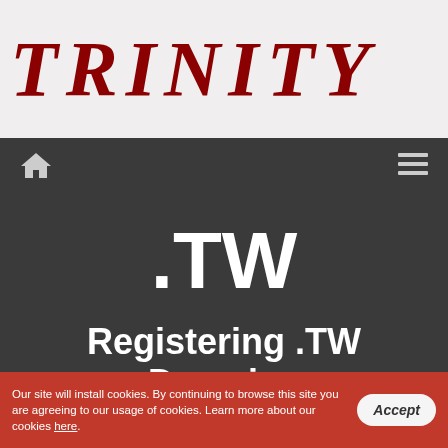TRINITY
[Figure (screenshot): Navigation bar with home icon on left and hamburger menu icon on right, dark gray background]
.TW
Registering .TW Domains
Our site will install cookies. By continuing to browse this site you are agreeing to our usage of cookies. Learn more about our cookies here.